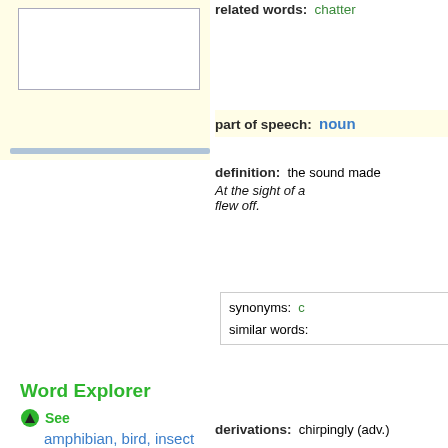[Figure (illustration): An empty white box with a thin border, presumably a word illustration placeholder, on a yellow background.]
related words:   chatter
part of speech:   noun
definition:   the sound made... At the sight of a... flew off.
synonyms:   c...
similar words:
derivations:   chirpingly (adv.)
Word Explorer
See
amphibian, bird, insect